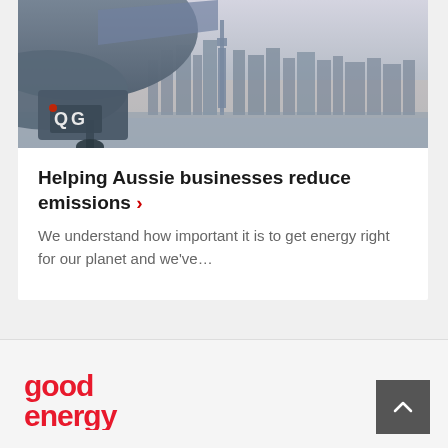[Figure (photo): Photograph of an aircraft nose with 'QG' markings on the landing gear door, with a city skyline (appears to be Sydney) visible in the background at dusk/dawn]
Helping Aussie businesses reduce emissions ›
We understand how important it is to get energy right for our planet and we've…
[Figure (logo): Good Energy logo in red text]